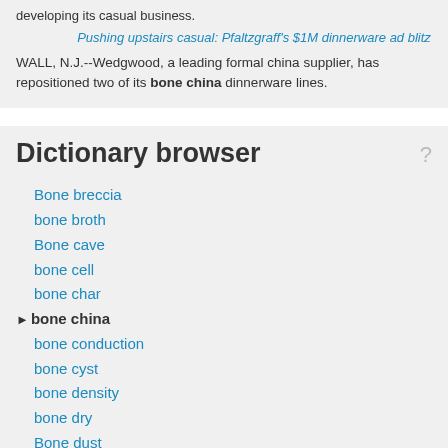developing its casual business.
Pushing upstairs casual: Pfaltzgraff's $1M dinnerware ad blitz
WALL, N.J.--Wedgwood, a leading formal china supplier, has repositioned two of its bone china dinnerware lines.
Dictionary browser
Bone breccia
bone broth
Bone cave
bone cell
bone char
bone china
bone conduction
bone cyst
bone density
bone dry
Bone dust
Bone earth